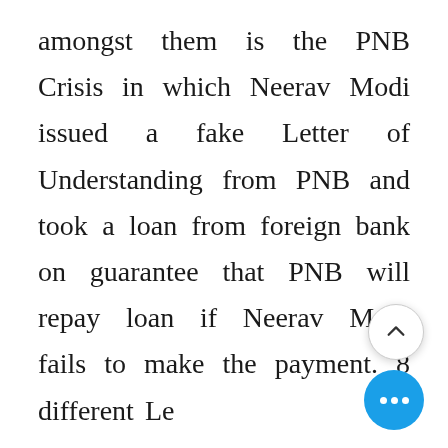amongst them is the PNB Crisis in which Neerav Modi issued a fake Letter of Understanding from PNB and took a loan from foreign bank on guarantee that PNB will repay loan if Neerav Modi fails to make the payment. 8 different Le